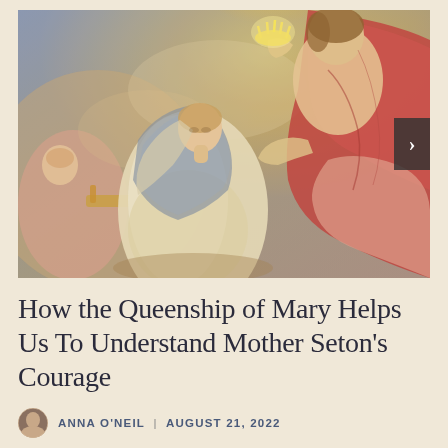[Figure (illustration): A classical religious oil painting depicting the Coronation of the Virgin Mary. A woman in white and blue robes kneels and looks upward toward a figure in red robes who holds a crown above her head. Angels with instruments are visible in the background on the left side.]
How the Queenship of Mary Helps Us To Understand Mother Seton's Courage
ANNA O'NEIL | AUGUST 21, 2022